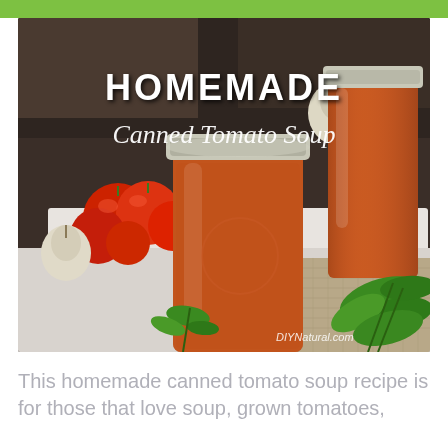[Figure (photo): Photo of homemade canned tomato soup in mason jars, with fresh tomatoes, garlic, and basil herbs on a white cloth. Text overlay reads 'HOMEMADE Canned Tomato Soup' with DIYNatural.com watermark.]
This homemade canned tomato soup recipe is for those that love soup, grown tomatoes,